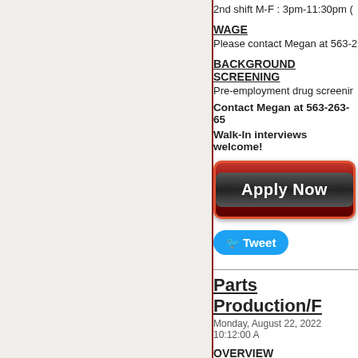2nd shift M-F: 3pm-11:30pm
WAGE
Please contact Megan at 563-...
BACKGROUND SCREENING
Pre-employment drug screening
Contact Megan at 563-263-65...
Walk-In interviews welcome!
[Figure (other): Apply Now button - red gradient rounded rectangle with dark inner button]
[Figure (other): Tweet button - blue rounded rectangle with Twitter bird icon]
Parts Production/F...
Monday, August 22, 2022 10:12:00 A...
OVERVIEW
Manufacturer of cold finished s... production/fabrication!
JOB RESPONSIBILITIES
- Use of press brakes, power p...
- Hydraulic hose assembly
- Fork truck operation
- Manual and robotic welding
SKILLS/QUALIFICATIONS